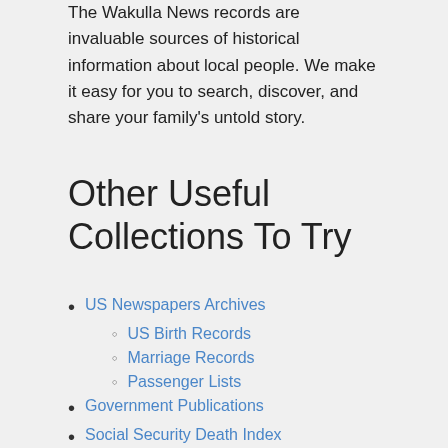The Wakulla News records are invaluable sources of historical information about local people. We make it easy for you to search, discover, and share your family's untold story.
Other Useful Collections To Try
US Newspapers Archives
US Birth Records
Marriage Records
Passenger Lists
Government Publications
Social Security Death Index
US Cultural Archives